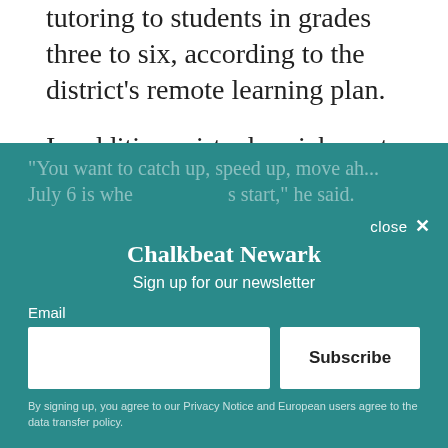tutoring to students in grades three to six, according to the district's remote learning plan.
In addition, virtual enrichment programs are free and open to all elementary and middle school students. They will include coding, chess, and dance classes led by instructors from the famous Alvin Ailey dance company, Superintendent Roger León said this month.
"You want to catch up, speed up, move ah... July 6 is whe... ...s start," he said.
Chalkbeat Newark
Sign up for our newsletter
Email
Subscribe
By signing up, you agree to our Privacy Notice and European users agree to the data transfer policy.